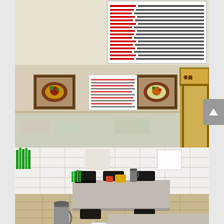[Figure (photo): Interior of an Asian restaurant dining area. The room has white tiled walls and gray laminate tables with black upholstered chairs. In the background, a large menu board with red and black text hangs on the wall above a service counter with a mirror behind it. Two framed food photos hang on the walls. Tables are set with condiment holders, thermos flasks, and green straw dispensers. A scroll-up arrow button is visible on the right edge of the image.]